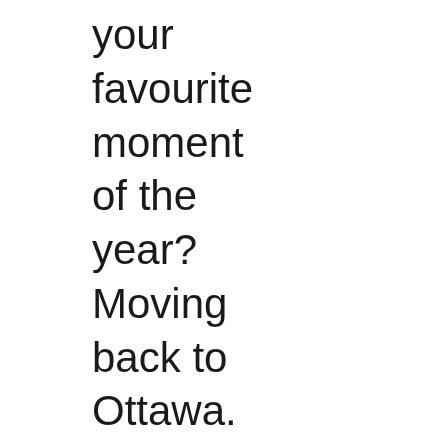your favourite moment of the year? Moving back to Ottawa. There’s just so, so, so much more to offer here than